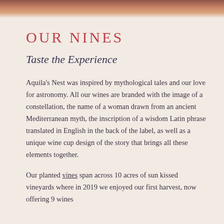[Figure (photo): Decorative header image showing a warm-toned vineyard or nature scene in reddish-brown tones at the top of the page]
Our Nines
Taste the Experience
Aquila's Nest was inspired by mythological tales and our love for astronomy. All our wines are branded with the image of a constellation, the name of a woman drawn from an ancient Mediterranean myth, the inscription of a wisdom Latin phrase translated in English in the back of the label, as well as a unique wine cup design of the story that brings all these elements together.
Our planted vines span across 10 acres of sun kissed vineyards where in 2019 we enjoyed our first harvest, now offering 9 wines